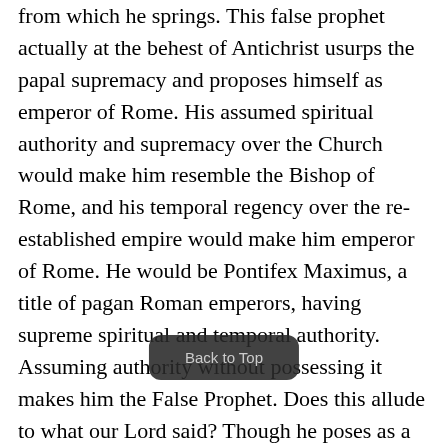from which he springs. This false prophet actually at the behest of Antichrist usurps the papal supremacy and proposes himself as emperor of Rome. His assumed spiritual authority and supremacy over the Church would make him resemble the Bishop of Rome, and his temporal regency over the re-established empire would make him emperor of Rome. He would be Pontifex Maximus, a title of pagan Roman emperors, having supreme spiritual and temporal authority. Assuming authority without possessing it makes him the False Prophet. Does this allude to what our Lord said? Though he poses as a lamb, a Christian, his doctrines betray him, for he preaches the doctrines of the dragon. His principles and dogmas to be accepted, his moral an... f diabolical inspiration. It may be communism or plain idolatrous paganism; it will comprise